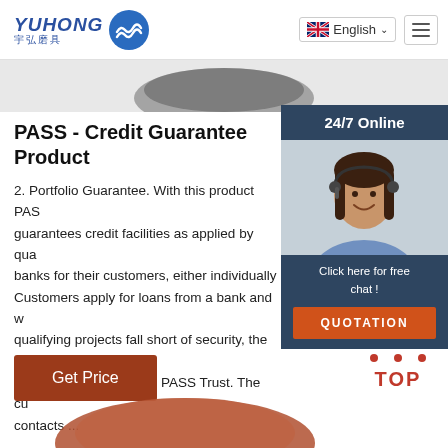YUHONG 宇弘磨具 | English | Navigation
PASS - Credit Guarantee Product
2. Portfolio Guarantee. With this product PASS guarantees credit facilities as applied by qualifying banks for their customers, either individually Customers apply for loans from a bank and qualifying projects fall short of security, the bank portfolio guarantee from PASS Trust. The customer contacts ...
[Figure (photo): Customer service representative with headset, next to 24/7 Online widget with Click here for free chat and QUOTATION button]
Get Price
[Figure (infographic): TOP button with dots arranged in triangle above text TOP]